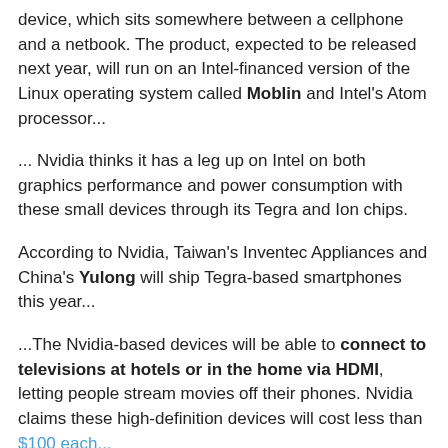device, which sits somewhere between a cellphone and a netbook. The product, expected to be released next year, will run on an Intel-financed version of the Linux operating system called Moblin and Intel's Atom processor...
... Nvidia thinks it has a leg up on Intel on both graphics performance and power consumption with these small devices through its Tegra and Ion chips.
According to Nvidia, Taiwan's Inventec Appliances and China's Yulong will ship Tegra-based smartphones this year...
...The Nvidia-based devices will be able to connect to televisions at hotels or in the home via HDMI, letting people stream movies off their phones. Nvidia claims these high-definition devices will cost less than $100 each...
Moblin is open source btw.